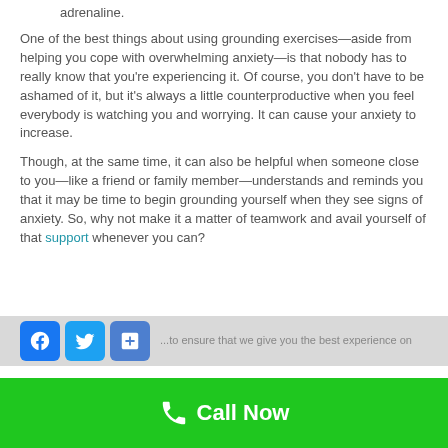adrenaline.
One of the best things about using grounding exercises—aside from helping you cope with overwhelming anxiety—is that nobody has to really know that you're experiencing it. Of course, you don't have to be ashamed of it, but it's always a little counterproductive when you feel everybody is watching you and worrying. It can cause your anxiety to increase.
Though, at the same time, it can also be helpful when someone close to you—like a friend or family member—understands and reminds you that it may be time to begin grounding yourself when they see signs of anxiety. So, why not make it a matter of teamwork and avail yourself of that support whenever you can?
[Figure (other): Social sharing buttons: Facebook, Twitter, and a generic share button, followed by partial cookie consent text]
[Figure (other): Green Call Now button bar with phone icon]